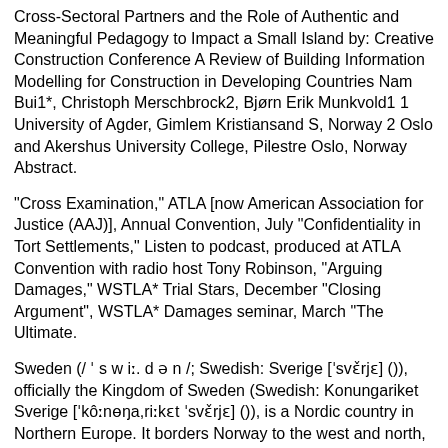Cross-Sectoral Partners and the Role of Authentic and Meaningful Pedagogy to Impact a Small Island by: Creative Construction Conference A Review of Building Information Modelling for Construction in Developing Countries Nam Bui1*, Christoph Merschbrock2, Bjørn Erik Munkvold1 1 University of Agder, Gimlem Kristiansand S, Norway 2 Oslo and Akershus University College, Pilestre Oslo, Norway Abstract.
"Cross Examination," ATLA [now American Association for Justice (AAJ)], Annual Convention, July "Confidentiality in Tort Settlements," Listen to podcast, produced at ATLA Convention with radio host Tony Robinson, "Arguing Damages," WSTLA* Trial Stars, December "Closing Argument", WSTLA* Damages seminar, March "The Ultimate.
Sweden (/ ˈ s w iː. d ə n /; Swedish: Sverige [ˈsvɛ̌rjɛ] ()), officially the Kingdom of Sweden (Swedish: Konungariket Sverige [ˈkôːnɵŋa‍ˌriːkɛt ˈsvɛ̌rjɛ] ()), is a Nordic country in Northern Europe. It borders Norway to the west and north, Finland to the east, and is connected to Denmark in the southwest by a bridge-tunnel across the Öresund l